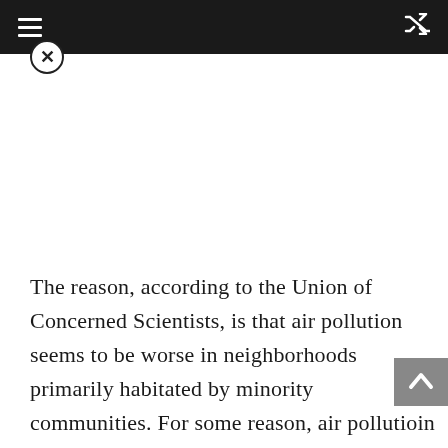The reason, according to the Union of Concerned Scientists, is that air pollution seems to be worse in neighborhoods primarily habitated by minority communities. For some reason, air pollutioin wants to hang out there.